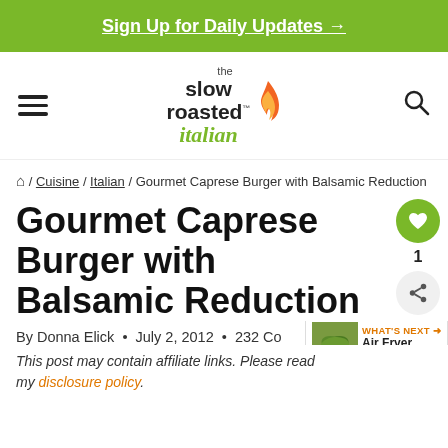Sign Up for Daily Updates →
[Figure (logo): The Slow Roasted Italian logo with flame and script text]
🏠 / Cuisine / Italian / Gourmet Caprese Burger with Balsamic Reduction
Gourmet Caprese Burger with Balsamic Reduction
By Donna Elick • July 2, 2012 • 232 Co...
This post may contain affiliate links. Please read my disclosure policy.